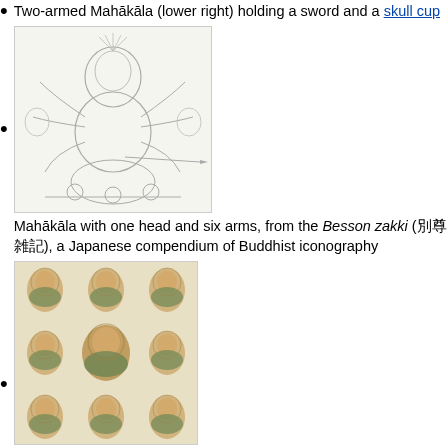Two-armed Mahākāla (lower right) holding a sword and a skull cup
[Figure (illustration): Line drawing of Mahākāla with one head and six arms, from the Besson zakki, a Japanese compendium of Buddhist iconography]
Mahākāla with one head and six arms, from the Besson zakki (別尊雑記), a Japanese compendium of Buddhist iconography
[Figure (illustration): Mandala illustration of Mahākāla and the Aṣṭamātṛkas, from the Kakuzenshō, an early Kamakura period iconographic work]
Mandala of Mahākāla and the Aṣṭamātṛkas, from the Kakuzenshō (覚禅鈔), an early Kamakura period iconographic